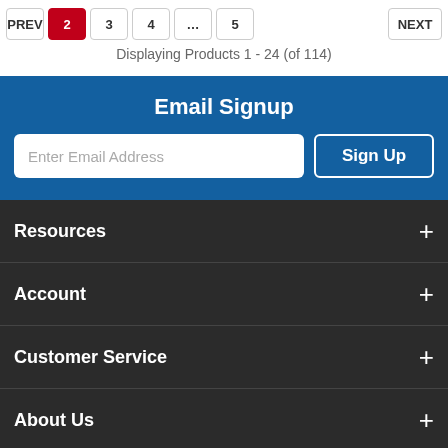Displaying Products 1 - 24 (of 114)
Email Signup
Enter Email Address
Sign Up
Resources
Account
Customer Service
About Us